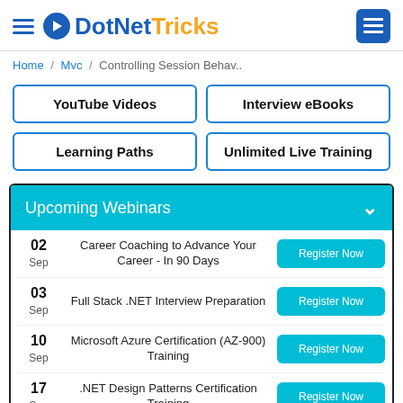DotNetTricks
Home / Mvc / Controlling Session Behav..
YouTube Videos
Interview eBooks
Learning Paths
Unlimited Live Training
Upcoming Webinars
| Date | Title | Action |
| --- | --- | --- |
| 02 Sep | Career Coaching to Advance Your Career - In 90 Days | Register Now |
| 03 Sep | Full Stack .NET Interview Preparation | Register Now |
| 10 Sep | Microsoft Azure Certification (AZ-900) Training | Register Now |
| 17 Sep | .NET Design Patterns Certification Training | Register Now |